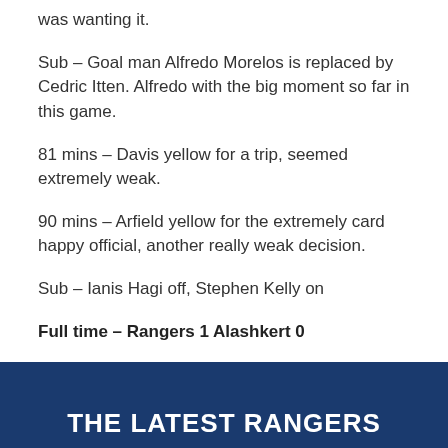was wanting it.
Sub – Goal man Alfredo Morelos is replaced by Cedric Itten. Alfredo with the big moment so far in this game.
81 mins – Davis yellow for a trip, seemed extremely weak.
90 mins – Arfield yellow for the extremely card happy official, another really weak decision.
Sub – Ianis Hagi off, Stephen Kelly on
Full time – Rangers 1 Alashkert 0
[Figure (other): Dark blue banner with white bold text reading THE LATEST RANGERS]